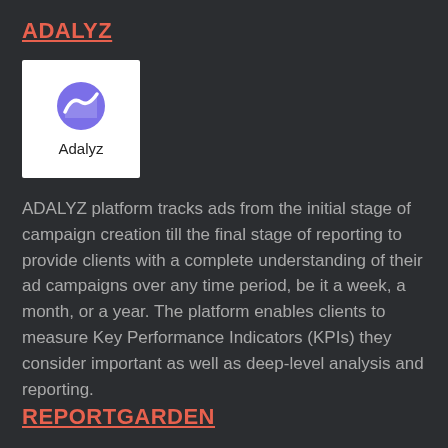ADALYZ
[Figure (logo): Adalyz logo: white square background with purple circular icon showing a stylized upward graph/wave symbol, with the text 'Adalyz' below it]
ADALYZ platform tracks ads from the initial stage of campaign creation till the final stage of reporting to provide clients with a complete understanding of their ad campaigns over any time period, be it a week, a month, or a year. The platform enables clients to measure Key Performance Indicators (KPIs) they consider important as well as deep-level analysis and reporting.
REPORTGARDEN